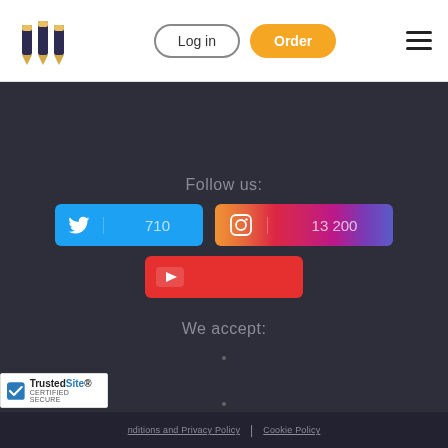[Figure (logo): Three pencil/pen icons in dark navy/gold colors]
Log in
Order
Follow us:
[Figure (infographic): Twitter button with bird icon and follower count 710]
[Figure (infographic): Instagram button with camera icon and follower count 13 200]
[Figure (infographic): YouTube button with play icon]
We accept:
[Figure (illustration): Canada flag emoji]
[Figure (illustration): UAE flag emoji]
[Figure (logo): TrustedSite CERTIFIED SECURE badge]
nditions and Privacy Policy  |  Cookie Policy